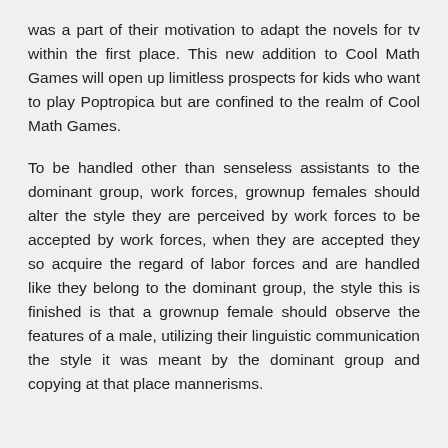was a part of their motivation to adapt the novels for tv within the first place. This new addition to Cool Math Games will open up limitless prospects for kids who want to play Poptropica but are confined to the realm of Cool Math Games.
To be handled other than senseless assistants to the dominant group, work forces, grownup females should alter the style they are perceived by work forces to be accepted by work forces, when they are accepted they so acquire the regard of labor forces and are handled like they belong to the dominant group, the style this is finished is that a grownup female should observe the features of a male, utilizing their linguistic communication the style it was meant by the dominant group and copying at that place mannerisms.